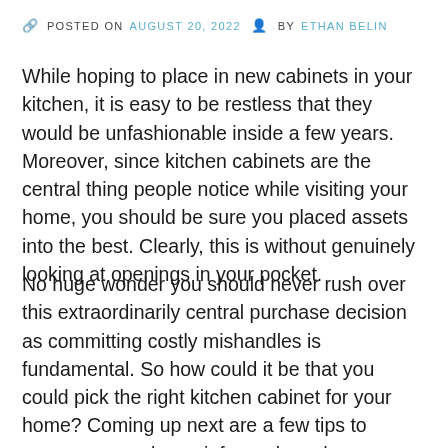POSTED ON AUGUST 20, 2022  BY ETHAN BELIN
While hoping to place in new cabinets in your kitchen, it is easy to be restless that they would be unfashionable inside a few years. Moreover, since kitchen cabinets are the central thing people notice while visiting your home, you should be sure you placed assets into the best. Clearly, this is without genuinely looking at openings in your pocket.
No huge wonder you should never rush over this extraordinarily central purchase decision as committing costly mishandles is fundamental. So how could it be that you could pick the right kitchen cabinet for your home? Coming up next are a few tips to ensure you make an informed purchase decision.